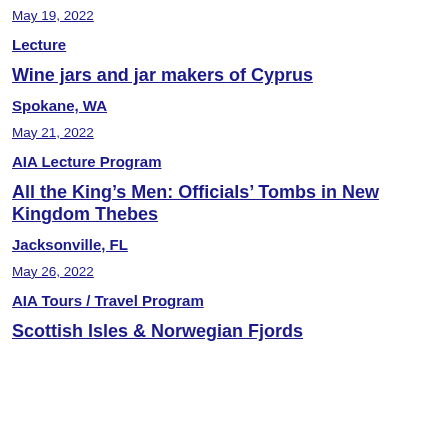May 19, 2022
Lecture
Wine jars and jar makers of Cyprus
Spokane, WA
May 21, 2022
AIA Lecture Program
All the King’s Men: Officials’ Tombs in New Kingdom Thebes
Jacksonville, FL
May 26, 2022
AIA Tours / Travel Program
Scottish Isles & Norwegian Fjords